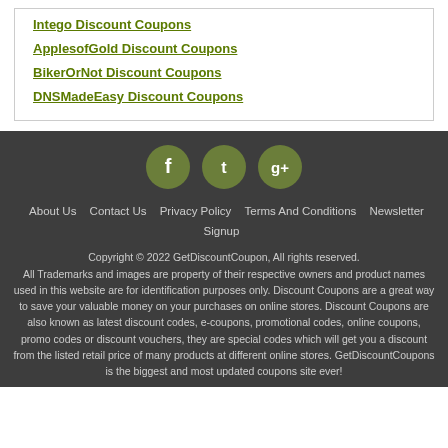Intego Discount Coupons
ApplesofGold Discount Coupons
BikerOrNot Discount Coupons
DNSMadeEasy Discount Coupons
[Figure (other): Social media icons: Facebook, Twitter, Google+]
About Us  Contact Us  Privacy Policy  Terms And Conditions  Newsletter Signup

Copyright © 2022 GetDiscountCoupon, All rights reserved.
All Trademarks and images are property of their respective owners and product names used in this website are for identification purposes only. Discount Coupons are a great way to save your valuable money on your purchases on online stores. Discount Coupons are also known as latest discount codes, e-coupons, promotional codes, online coupons, promo codes or discount vouchers, they are special codes which will get you a discount from the listed retail price of many products at different online stores. GetDiscountCoupons is the biggest and most updated coupons site ever!